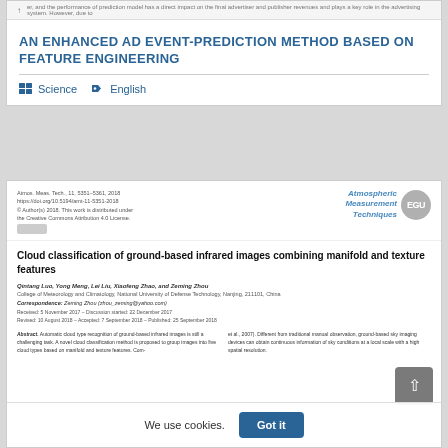AN ENHANCED AD EVENT-PREDICTION METHOD BASED ON FEATURE ENGINEERING
Science  English
[Figure (screenshot): Thumbnail of a scientific paper page from Atmospheric Measurement Techniques (EGU). Shows journal header with citation info and logo, paper title 'Cloud classification of ground-based infrared images combining manifold and texture features', authors Qintang Luo, Yong Meng, Lei Liu, Xiaofeng Zhao, and Zeming Zhou, affiliation, correspondence, received/revised/accepted dates, and beginning of abstract.]
We use cookies.
Got it